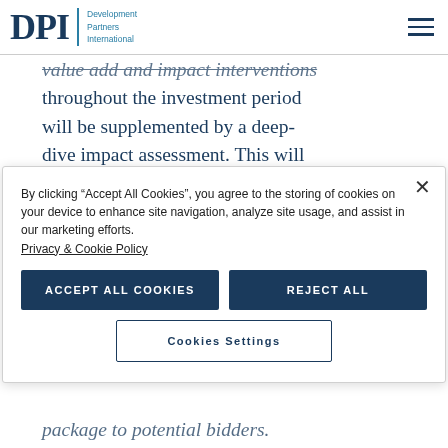[Figure (logo): DPI - Development Partners International logo with teal/navy color scheme]
value add and impact interventions throughout the investment period will be supplemented by a deep-dive impact assessment. This will allow for sustainability gains to
By clicking “Accept All Cookies”, you agree to the storing of cookies on your device to enhance site navigation, analyze site usage, and assist in our marketing efforts. Privacy & Cookie Policy
package to potential bidders.